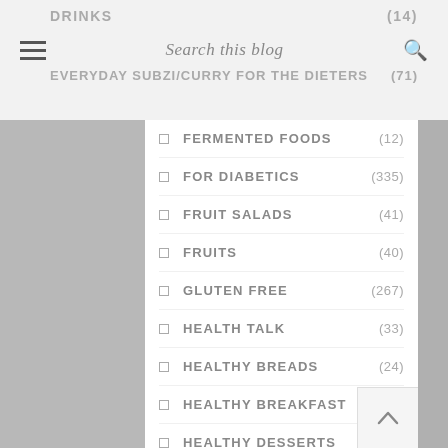DRINKS (14) | Search this blog | EVERYDAY SUBZI/CURRY FOR THE DIETERS (71)
FERMENTED FOODS (12)
FOR DIABETICS (335)
FRUIT SALADS (41)
FRUITS (40)
GLUTEN FREE (267)
HEALTH TALK (33)
HEALTHY BREADS (24)
HEALTHY BREAKFAST (115)
HEALTHY DESSERTS (32)
HEALTHY MEALS (207)
HEALTHY SNACKS (58)
HEART HEALTHY (155)